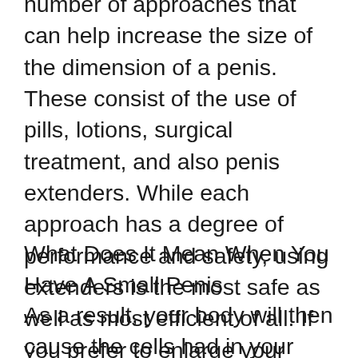number of approaches that can help increase the size of the dimension of a penis. These consist of the use of pills, lotions, surgical treatment, and also penis extenders. While each approach has a degree of performance and safety, using extenders is the most safe as well as most efficient of all. If you prefer to enlarge your manhood, consequently, we suggest that you get a top quality extender. With one such as any of the above, you'll obtain lasting results over a brief duration.
What Does It Mean When You Have A Small Penis
As a result, your body will then cause the cells had in your penis to multiply which brings about long-term size gains. The very